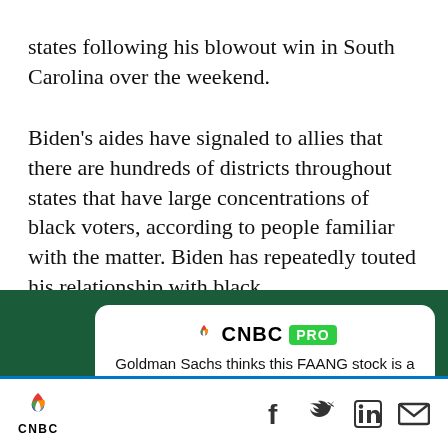states following his blowout win in South Carolina over the weekend.
Biden's aides have signaled to allies that there are hundreds of districts throughout states that have large concentrations of black voters, according to people familiar with the matter. Biden has repeatedly touted his relationship with black
[Figure (screenshot): CNBC PRO advertisement card on dark green background. Shows CNBC logo with peacock flame graphic and PRO badge in green. Headline: 'Goldman Sachs thinks this FAANG stock is a sell — and gives it downside of more than 20%'. Subscribe Now button in green. Close X button in top right.]
[Figure (logo): CNBC bottom navigation bar with peacock logo and CNBC text on left, social media icons (Facebook, Twitter, LinkedIn, Email) on right.]